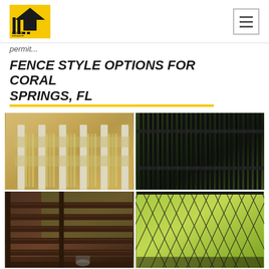Power Fence logo and navigation
permit
FENCE STYLE OPTIONS FOR CORAL SPRINGS, FL
[Figure (photo): Four-panel photo collage showing fence style options: top-left shows white vinyl privacy fence, top-right shows black aluminum vertical slat fence, bottom-left shows dark wood horizontal rail fence, bottom-right shows black chain link fence]